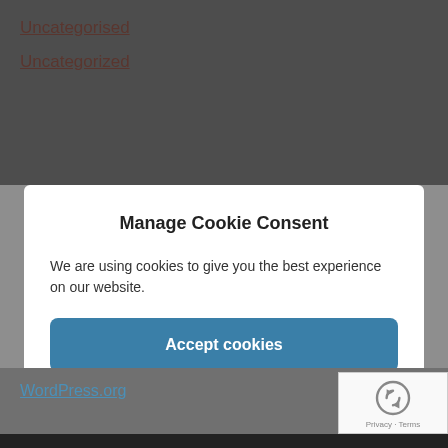Uncategorised
Uncategorized
Manage Cookie Consent
We are using cookies to give you the best experience on our website.
Accept cookies
Deny
View preferences
WordPress.org
Privacy · Terms